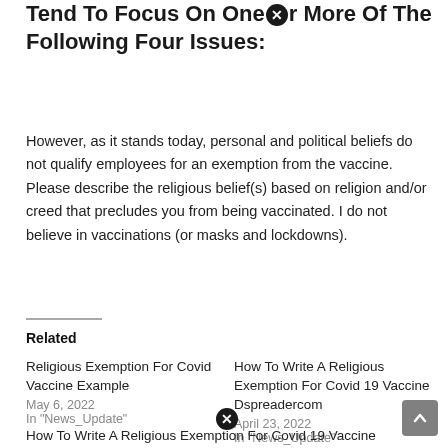Tend To Focus On One Or More Of The Following Four Issues:
However, as it stands today, personal and political beliefs do not qualify employees for an exemption from the vaccine. Please describe the religious belief(s) based on religion and/or creed that precludes you from being vaccinated. I do not believe in vaccinations (or masks and lockdowns).
Related
Religious Exemption For Covid Vaccine Example
May 6, 2022
In "News_Update"
How To Write A Religious Exemption For Covid 19 Vaccine Dspreadercom
April 23, 2022
In "News_Update"
How To Write A Religious Exemption For Covid 19 Vaccine